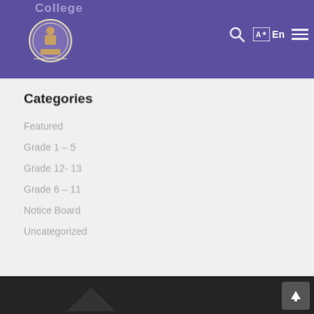College
[Figure (logo): School/college circular emblem logo with figure and decorative border]
Categories
Featured
Grade 1 – 5
Grade 12- 13
Grade 6 – 11
Notice Board
Uncategorized